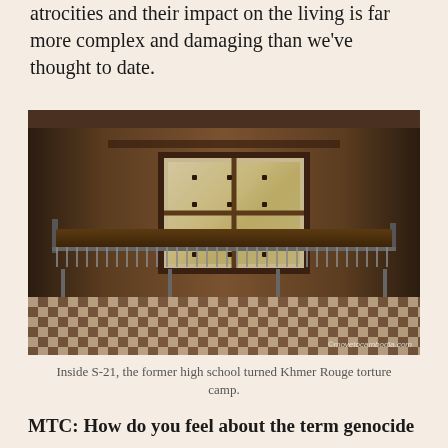atrocities and their impact on the living is far more complex and damaging than we've thought to date.
[Figure (photo): Interior of S-21, a former high school turned Khmer Rouge torture camp, showing a sparse room with a rusted metal bed frame, checkered tile floor, barred window letting in light, and dark brown walls. Watermark reads ©movetocambodia.com]
Inside S-21, the former high school turned Khmer Rouge torture camp.
MTC: How do you feel about the term genocide